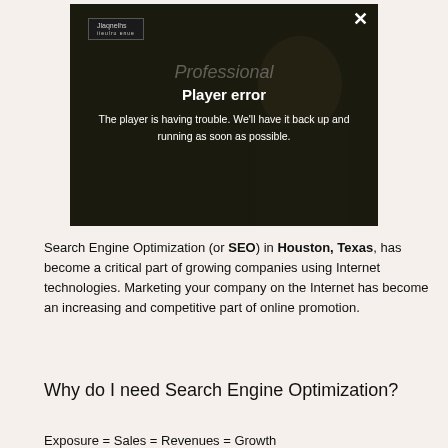[Figure (screenshot): Video player showing a player error message overlay on a dark video frame with a person in the background. The error reads 'Player error' and 'The player is having trouble. We'll have it back up and running as soon as possible.' There is a close (X) button in the top right corner and a logo in the top left.]
Search Engine Optimization (or SEO) in Houston, Texas, has become a critical part of growing companies using Internet technologies. Marketing your company on the Internet has become an increasing and competitive part of online promotion.
Why do I need Search Engine Optimization?
Exposure = Sales = Revenues = Growth